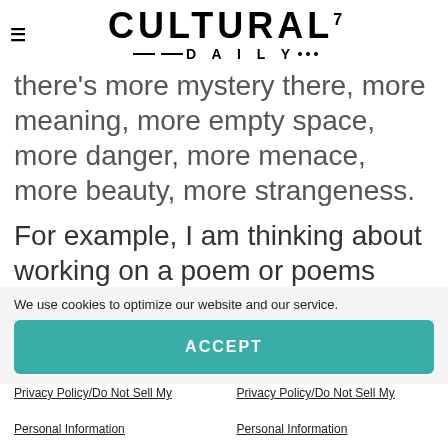CULTURAL7 DAILY
there's more mystery there, more meaning, more empty space, more danger, more menace, more beauty, more strangeness.
For example, I am thinking about working on a poem or poems about a particular assassination attempt in South Korea. I've been thinking about it for years. Why am I
We use cookies to optimize our website and our service.
ACCEPT
Privacy Policy/Do Not Sell My Personal Information
Privacy Policy/Do Not Sell My Personal Information